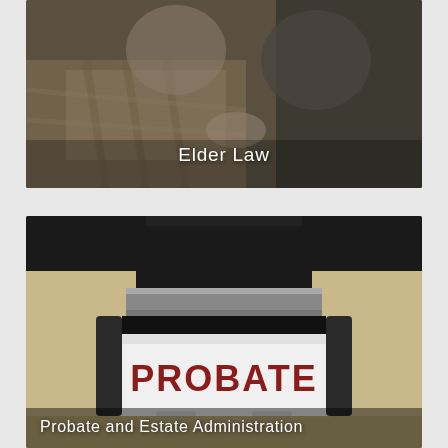[Figure (photo): Photo of elderly couple sitting together on a sofa, holding hands, with a blanket. Text overlay reads 'Elder Law'.]
[Figure (photo): Close-up photo of a rubber stamp with 'PROBATE' printed in dark red letters on a white label, resting on a desk surface. Text overlay reads 'Probate and Estate Administration'.]